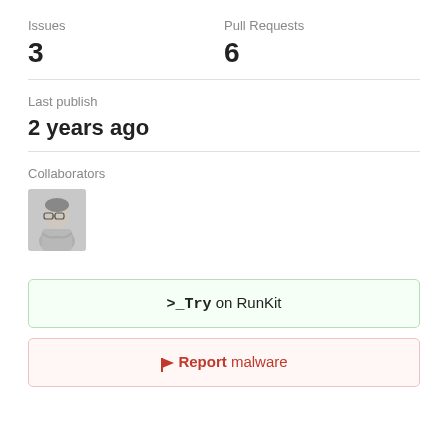Issues
Pull Requests
3
6
Last publish
2 years ago
Collaborators
[Figure (photo): Collaborator avatar photo of a person wearing glasses with arms crossed]
>_Try on RunKit
Report malware